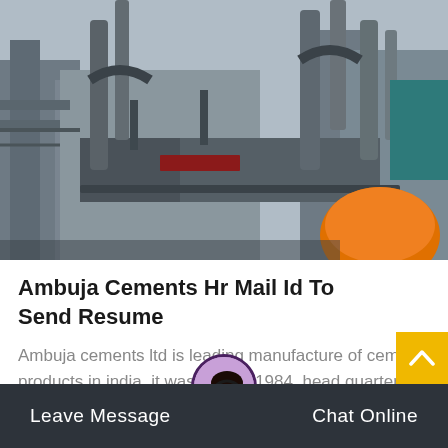[Figure (photo): Industrial cement factory exterior showing large cylindrical kilns, pipes, and industrial equipment under an overcast sky. A person wearing an orange hard hat is visible in the foreground.]
Ambuja Cements Hr Mail Id To Send Resume
Ambuja cements ltd is leading manufacture of cement products in india. it was start in 1984. head quarters at mumbai. more than…
Leave Message
Chat Online